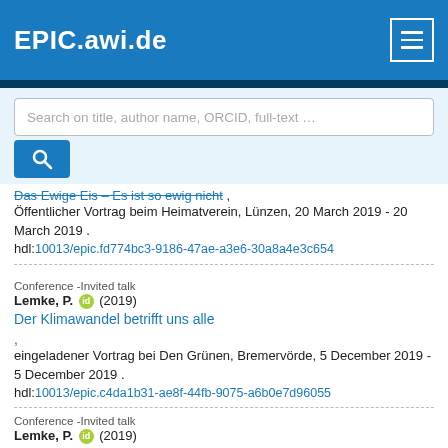EPIC.awi.de
Search on title, author name, ORCID, full-text …
Das Ewige Eis – Es ist so ewig nicht ,
Öffentlicher Vortrag beim Heimatverein, Lünzen, 20 March 2019 - 20 March 2019 .
hdl:10013/epic.fd774bc3-9186-47ae-a3e6-30a8a4e3c654
Conference -Invited talk
Lemke, P. (2019)
Der Klimawandel betrifft uns alle ,
eingeladener Vortrag bei Den Grünen, Bremervörde, 5 December 2019 - 5 December 2019 .
hdl:10013/epic.c4da1b31-ae8f-44fb-9075-a6b0e7d96055
Conference -Invited talk
Lemke, P. (2019)
Der gefrorene Ozean - Mit FS Polarstern auf Winterexpedition in die Antarktis ,
Öffentlicher Vortrag, Beckedorf, 14 March 2019 - 14 March 2019